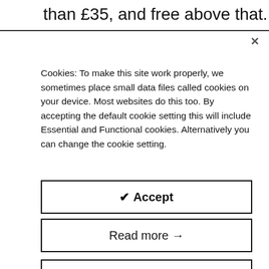than £35, and free above that.
Cookies: To make this site work properly, we sometimes place small data files called cookies on your device. Most websites do this too. By accepting the default cookie setting this will include Essential and Functional cookies. Alternatively you can change the cookie setting.
✔ Accept
Read more →
Cookies Settings ⚙